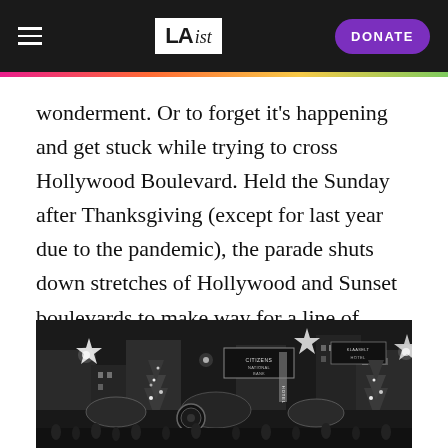LAist | DONATE
wonderment. Or to forget it's happening and get stuck while trying to cross Hollywood Boulevard. Held the Sunday after Thanksgiving (except for last year due to the pandemic), the parade shuts down stretches of Hollywood and Sunset boulevards to make way for a line of floats, balloons, celebrities and performers.
[Figure (photo): Black and white nighttime photograph of a Hollywood Christmas parade scene with decorated floats, lights, Christmas trees, star decorations, and buildings including Citizens National Bank in the background.]